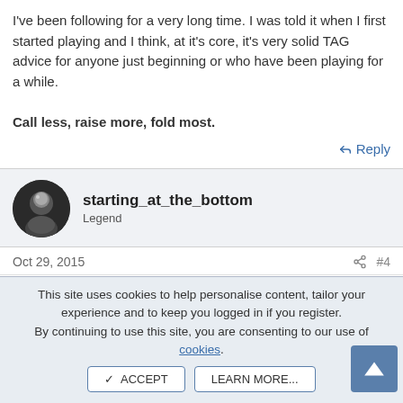I've been following for a very long time. I was told it when I first started playing and I think, at it's core, it's very solid TAG advice for anyone just beginning or who have been playing for a while.

Call less, raise more, fold most.
Reply
starting_at_the_bottom
Legend
Oct 29, 2015	#4
Understand position
This site uses cookies to help personalise content, tailor your experience and to keep you logged in if you register.
By continuing to use this site, you are consenting to our use of cookies.
ACCEPT	LEARN MORE...